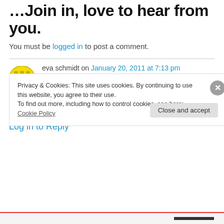…Join in, love to hear from you.
You must be logged in to post a comment.
eva schmidt on January 20, 2011 at 7:13 pm
so far i like you,re blog. wish that many people do check in. good luck eva
★ Like
Log in to Reply
Privacy & Cookies: This site uses cookies. By continuing to use this website, you agree to their use. To find out more, including how to control cookies, see here: Cookie Policy